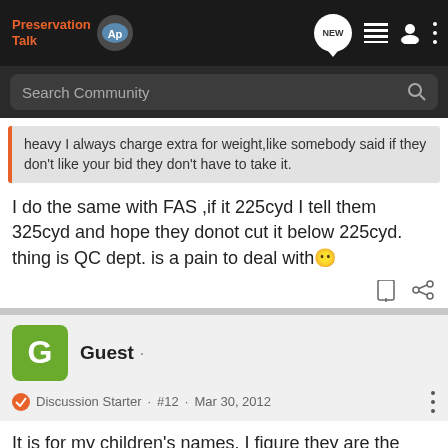Preservation Talk
heavy I always charge extra for weight,like somebody said if they don't like your bid they don't have to take it.
I do the same with FAS ,if it 225cyd I tell them 325cyd and hope they donot cut it below 225cyd. thing is QC dept. is a pain to deal with 😶
Guest ·
Discussion Starter · #12 · Mar 30, 2012
It is for my children's names. I figure they are the main reason I